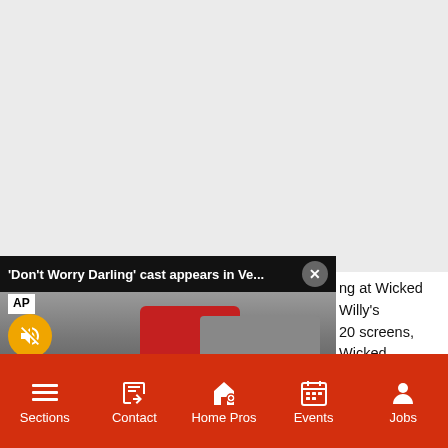[Figure (screenshot): Video overlay popup showing 'Don't Worry Darling' cast at Venice. AP badge top left, mute button (orange circle with mute icon), close button (X circle) top right. Title bar reads: 'Don't Worry Darling' cast appears in Ve... Crowd scene photo below.]
ng at Wicked Willy's 20 screens, Wicked projector screen. rty reservations, call 212 ail.com to reserve your
scuting.
Sections  Contact  Home Pros  Events  Jobs